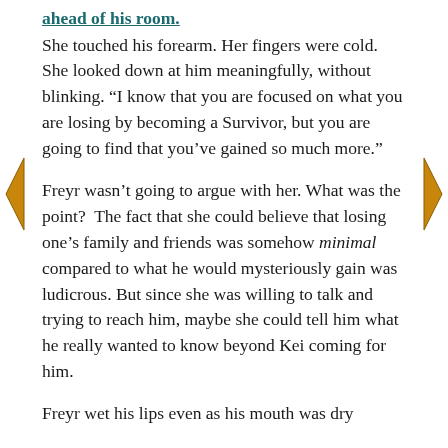ahead of his room.
She touched his forearm. Her fingers were cold. She looked down at him meaningfully, without blinking. “I know that you are focused on what you are losing by becoming a Survivor, but you are going to find that you’ve gained so much more.”
Freyr wasn’t going to argue with her. What was the point?  The fact that she could believe that losing one’s family and friends was somehow minimal compared to what he would mysteriously gain was ludicrous. But since she was willing to talk and trying to reach him, maybe she could tell him what he really wanted to know beyond Kei coming for him.
Freyr wet his lips even as his mouth was dry